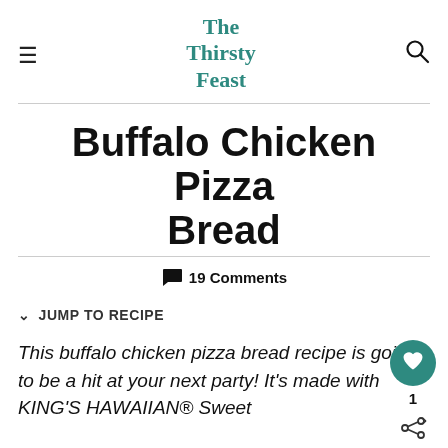The Thirsty Feast
Buffalo Chicken Pizza Bread
💬 19 Comments
⌄ JUMP TO RECIPE
This buffalo chicken pizza bread recipe is going to be a hit at your next party! It's made with KING'S HAWAIIAN® Sweet